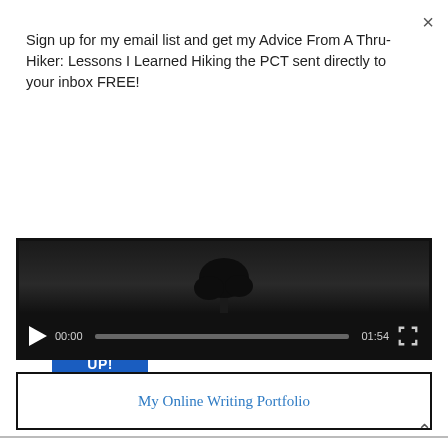×
Sign up for my email list and get my Advice From A Thru-Hiker: Lessons I Learned Hiking the PCT sent directly to your inbox FREE!
SIGN ME UP!
[Figure (screenshot): Video player showing a dark outdoor scene with a tree silhouette. Controls show play button, timestamp 00:00, progress bar, end time 01:54, and fullscreen button.]
My Online Writing Portfolio